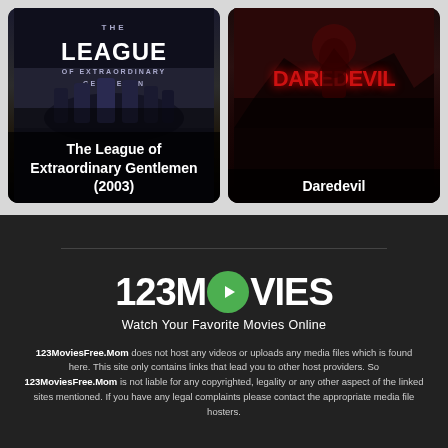[Figure (photo): Movie poster card for The League of Extraordinary Gentlemen (2003) with dark stylized background and white bold title text at bottom]
[Figure (photo): Movie poster card for Daredevil with dark red background showing DAREDEVIL logo and character imagery, bold white title text at bottom]
[Figure (logo): 123MOVIES logo with green play button circle replacing the O, with tagline 'Watch Your Favorite Movies Online']
123MoviesFree.Mom does not host any videos or uploads any media files which is found here. This site only contains links that lead you to other host providers. So 123MoviesFree.Mom is not liable for any copyrighted, legality or any other aspect of the linked sites mentioned. If you have any legal complaints please contact the appropriate media file hosters.